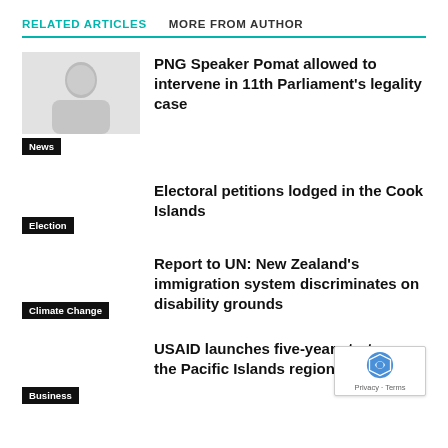RELATED ARTICLES   MORE FROM AUTHOR
[Figure (photo): Thumbnail image of a person, labeled News]
PNG Speaker Pomat allowed to intervene in 11th Parliament's legality case
News
Electoral petitions lodged in the Cook Islands
Election
Report to UN: New Zealand's immigration system discriminates on disability grounds
Climate Change
USAID launches five-year strategy for the Pacific Islands region
Business